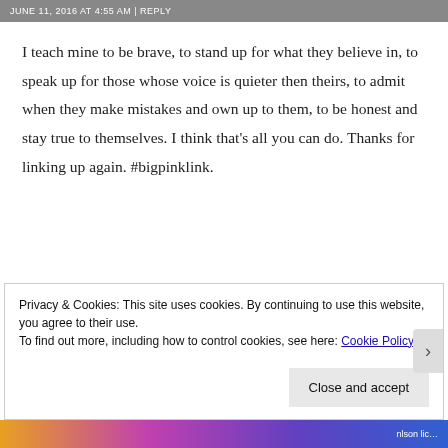JUNE 11, 2016 AT 4:55 AM | REPLY
I teach mine to be brave, to stand up for what they believe in, to speak up for those whose voice is quieter then theirs, to admit when they make mistakes and own up to them, to be honest and stay true to themselves. I think that's all you can do. Thanks for linking up again. #bigpinklink.
Privacy & Cookies: This site uses cookies. By continuing to use this website, you agree to their use.
To find out more, including how to control cookies, see here: Cookie Policy
Close and accept